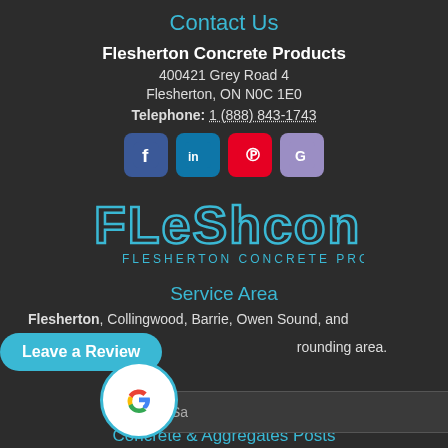Contact Us
Flesherton Concrete Products
400421 Grey Road 4
Flesherton, ON N0C 1E0
Telephone: 1 (888) 843-1743
[Figure (infographic): Social media icons: Facebook, LinkedIn, Pinterest, Google Maps]
[Figure (logo): Fleshcon - Flesherton Concrete Products logo in cyan/teal outline style on dark background]
Service Area
Flesherton, Collingwood, Barrie, Owen Sound, and the surrounding area.
[Figure (other): Leave a Review button (cyan rounded rectangle) with Google G logo circle overlay]
Sa
Concrete & Aggregates Posts